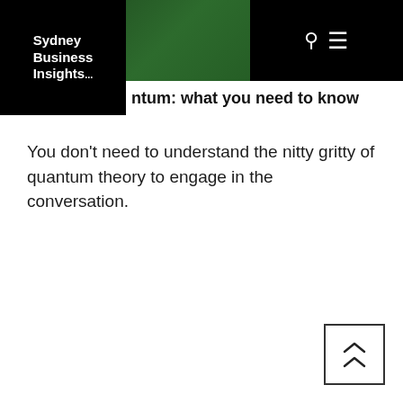Sydney Business Insights
…ntum: what you need to know
You don't need to understand the nitty gritty of quantum theory to engage in the conversation.